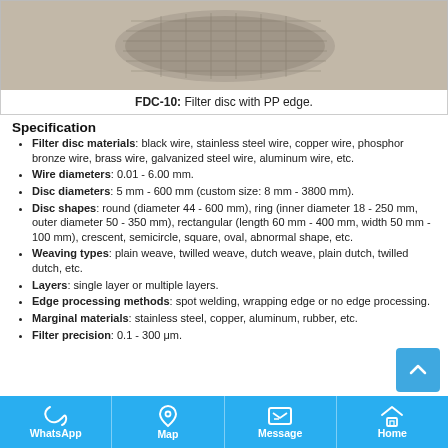[Figure (photo): Photo of a filter disc product (FDC-10) with PP edge, showing a mesh/wire disc]
FDC-10: Filter disc with PP edge.
Specification
Filter disc materials: black wire, stainless steel wire, copper wire, phosphor bronze wire, brass wire, galvanized steel wire, aluminum wire, etc.
Wire diameters: 0.01 - 6.00 mm.
Disc diameters: 5 mm - 600 mm (custom size: 8 mm - 3800 mm).
Disc shapes: round (diameter 44 - 600 mm), ring (inner diameter 18 - 250 mm, outer diameter 50 - 350 mm), rectangular (length 60 mm - 400 mm, width 50 mm - 100 mm), crescent, semicircle, square, oval, abnormal shape, etc.
Weaving types: plain weave, twilled weave, dutch weave, plain dutch, twilled dutch, etc.
Layers: single layer or multiple layers.
Edge processing methods: spot welding, wrapping edge or no edge processing.
Marginal materials: stainless steel, copper, aluminum, rubber, etc.
Filter precision: 0.1 - 300 μm.
WhatsApp  Map  Message  Home